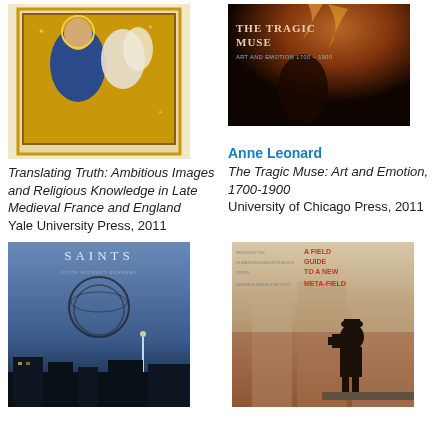[Figure (photo): Book cover of Translating Truth: Ambitious Images and Religious Knowledge in Late Medieval France and England – medieval illuminated manuscript image]
Translating Truth: Ambitious Images and Religious Knowledge in Late Medieval France and England
Yale University Press, 2011
[Figure (photo): Book cover of The Tragic Muse: Art and Emotion, 1700-1900 – dark dramatic painting with text overlay]
Anne Leonard
The Tragic Muse: Art and Emotion, 1700-1900
University of Chicago Press, 2011
[Figure (photo): Book cover of Saints: Faith Without Borders – blue toned street scene with circular wire sculpture]
[Figure (photo): Book cover of A Field Guide to a New Meta-Field: Bridging the Humanities-Neuroscience Divide by Barbara Maria Stafford – vintage photo of man with camera]